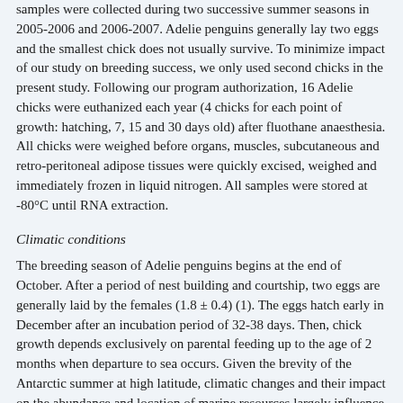samples were collected during two successive summer seasons in 2005-2006 and 2006-2007. Adelie penguins generally lay two eggs and the smallest chick does not usually survive. To minimize impact of our study on breeding success, we only used second chicks in the present study. Following our program authorization, 16 Adelie chicks were euthanized each year (4 chicks for each point of growth: hatching, 7, 15 and 30 days old) after fluothane anaesthesia. All chicks were weighed before organs, muscles, subcutaneous and retro-peritoneal adipose tissues were quickly excised, weighed and immediately frozen in liquid nitrogen. All samples were stored at -80°C until RNA extraction.
Climatic conditions
The breeding season of Adelie penguins begins at the end of October. After a period of nest building and courtship, two eggs are generally laid by the females (1.8 ± 0.4) (1). The eggs hatch early in December after an incubation period of 32-38 days. Then, chick growth depends exclusively on parental feeding up to the age of 2 months when departure to sea occurs. Given the brevity of the Antarctic summer at high latitude, climatic changes and their impact on the abundance and location of marine resources largely influence the survival and growth of the chicks. It might be supposed that harsh climatic conditions impact biological